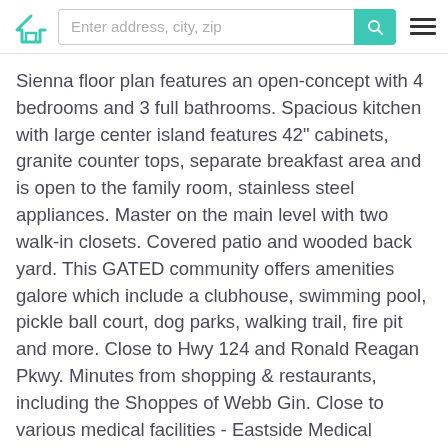Enter address, city, zip
Sienna floor plan features an open-concept with 4 bedrooms and 3 full bathrooms. Spacious kitchen with large center island features 42" cabinets, granite counter tops, separate breakfast area and is open to the family room, stainless steel appliances. Master on the main level with two walk-in closets. Covered patio and wooded back yard. This GATED community offers amenities galore which include a clubhouse, swimming pool, pickle ball court, dog parks, walking trail, fire pit and more. Close to Hwy 124 and Ronald Reagan Pkwy. Minutes from shopping & restaurants, including the Shoppes of Webb Gin. Close to various medical facilities - Eastside Medical Hospital. *** Stock Photo*** Home is to be built.
Georgia > Snellville > 30078